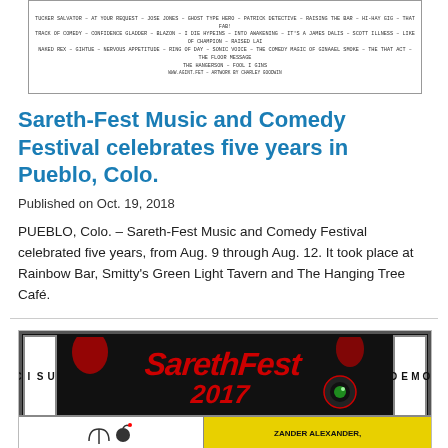[Figure (other): Top portion of a festival flyer or poster shown as a small image with dense text listing performer names in monospace font, partially visible at the top of the page.]
Sareth-Fest Music and Comedy Festival celebrates five years in Pueblo, Colo.
Published on Oct. 19, 2018
PUEBLO, Colo. – Sareth-Fest Music and Comedy Festival celebrated five years, from Aug. 9 through Aug. 12. It took place at Rainbow Bar, Smitty's Green Light Tavern and The Hanging Tree Café.
[Figure (illustration): Sareth-Fest 2017 Music and Comedy Festival poster. Dark background with large red stylized 'SarethFest 2017' graffiti-style lettering. Left side has a white panel labeled 'MUSIC' vertically, right side has a white panel labeled 'COMEDY' vertically. Bottom strip shows comic-style illustration panels on left and a yellow panel on right reading 'ZANDER ALEXANDER'.]